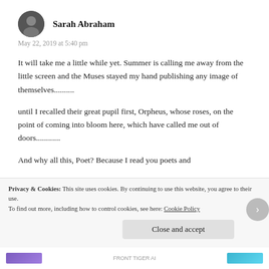Sarah Abraham
May 22, 2019 at 5:40 pm
It will take me a little while yet. Summer is calling me away from the little screen and the Muses stayed my hand publishing any image of themselves..........
until I recalled their great pupil first, Orpheus, whose roses, on the point of coming into bloom here, which have called me out of doors............
And why all this, Poet? Because I read you poets and
Privacy & Cookies: This site uses cookies. By continuing to use this website, you agree to their use.
To find out more, including how to control cookies, see here: Cookie Policy
Close and accept